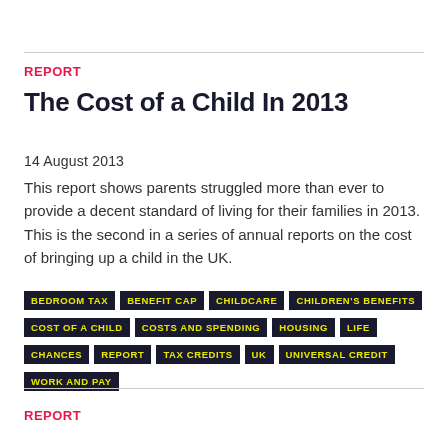REPORT
The Cost of a Child In 2013
14 August 2013
This report shows parents struggled more than ever to provide a decent standard of living for their families in 2013. This is the second in a series of annual reports on the cost of bringing up a child in the UK.
BEDROOM TAX
BENEFIT CAP
CHILDCARE
CHILDREN'S BENEFITS
COST OF A CHILD
COSTS AND SPENDING
HOUSING
LIFE CHANCES
REPORT
TAX CREDITS
UK
UNIVERSAL CREDIT
WORK AND PAY
REPORT